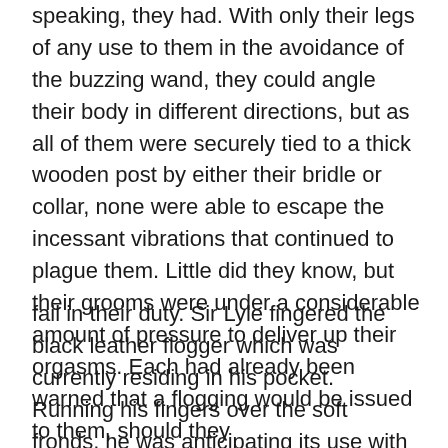speaking, they had. With only their legs of any use to them in the avoidance of the buzzing wand, they could angle their body in different directions, but as all of them were securely tied to a thick wooden post by either their bridle or collar, none were able to escape the incessant vibrations that continued to plague them. Little did they know, but their grooms were under a considerable amount of pressure to deliver up their orgasms. Each had already been warned that a flogging would be issued to them, should they
fail in their duty. Sir Lyle fingered the black leather flogger which was currently residing in his pocket. Running his fingers over the soft fronds, he was anticipating its use with an eagerness born of three weeks vanilla vacation time, which had been insisted upon by his equally vanilla